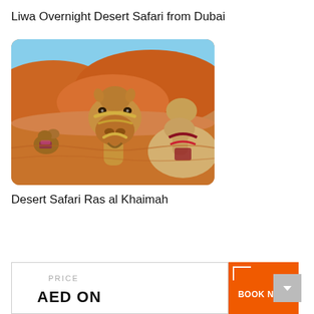Liwa Overnight Desert Safari from Dubai
[Figure (photo): Two camels in a sandy desert landscape with orange sand dunes behind them. The foreground camel is close-up with a rope harness, and a second camel sits behind in the background.]
Desert Safari Ras al Khaimah
PRICE
AED ON
BOOK NOW